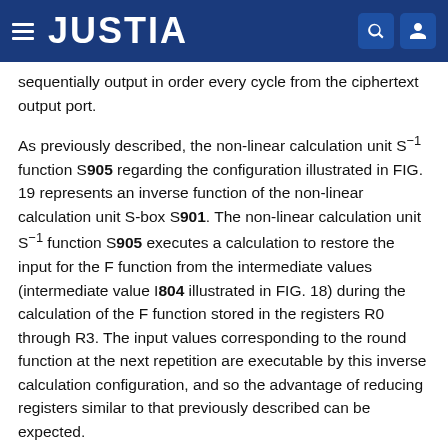JUSTIA
sequentially output in order every cycle from the ciphertext output port.
As previously described, the non-linear calculation unit S⁻¹ function S905 regarding the configuration illustrated in FIG. 19 represents an inverse function of the non-linear calculation unit S-box S901. The non-linear calculation unit S⁻¹ function S905 executes a calculation to restore the input for the F function from the intermediate values (intermediate value I804 illustrated in FIG. 18) during the calculation of the F function stored in the registers R0 through R3. The input values corresponding to the round function at the next repetition are executable by this inverse calculation configuration, and so the advantage of reducing registers similar to that previously described can be expected.